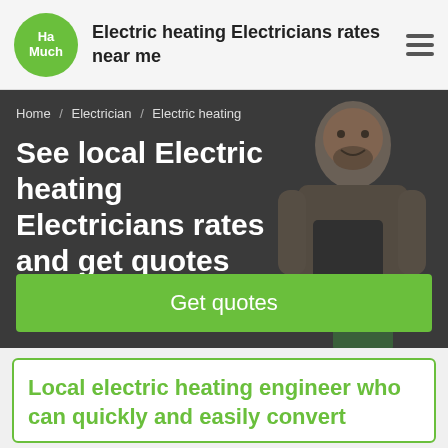Electric heating Electricians rates near me
Home / Electrician / Electric heating
See local Electric heating Electricians rates and get quotes
Get quotes
[Figure (photo): Smiling male electrician in plaid shirt and apron holding a green clipboard, dark background]
Local electric heating engineer who can quickly and easily convert